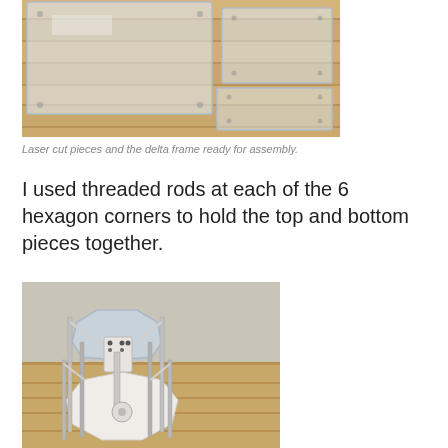[Figure (photo): Laser cut acrylic/transparent pieces and delta frame pieces laid out on a wooden floor ready for assembly.]
Laser cut pieces and the delta frame ready for assembly.
I used threaded rods at each of the 6 hexagon corners to hold the top and bottom pieces together.
[Figure (photo): Assembled delta 3D printer frame showing hexagonal acrylic top and bottom plates connected by threaded rods at the 6 corners, with diagonal bracing rods, sitting on a wooden floor.]